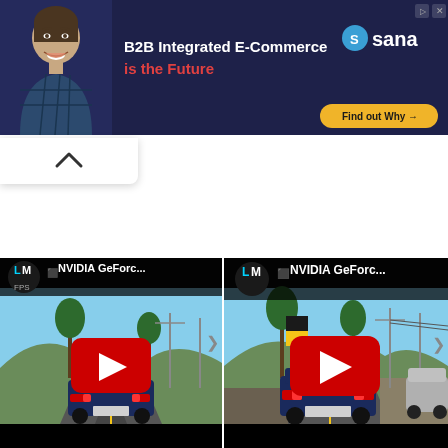[Figure (screenshot): Advertisement banner for Sana B2B Integrated E-Commerce. Dark navy background with a smiling man on the left, headline text 'B2B Integrated E-Commerce is the Future', Sana logo and 'Find out Why' button on the right.]
[Figure (screenshot): Two side-by-side YouTube video thumbnails showing NVIDIA GeForce gameplay footage. Each thumbnail shows a blue classic muscle car (rear view) driving on a road with palm trees. Channel icon 'LM' in black circle, title 'NVIDIA GeForc...' and red YouTube play button overlay.]